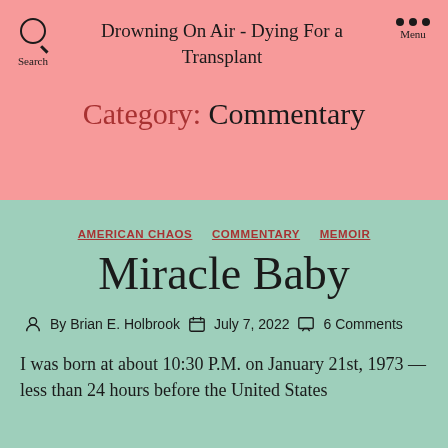Drowning On Air - Dying For a Transplant
Category: Commentary
AMERICAN CHAOS   COMMENTARY   MEMOIR
Miracle Baby
By Brian E. Holbrook   July 7, 2022   6 Comments
I was born at about 10:30 P.M. on January 21st, 1973 —less than 24 hours before the United States